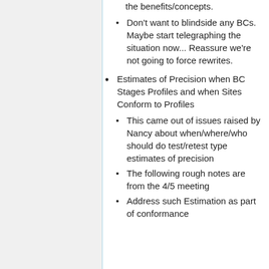the benefits/concepts.
Don't want to blindside any BCs. Maybe start telegraphing the situation now... Reassure we're not going to force rewrites.
Estimates of Precision when BC Stages Profiles and when Sites Conform to Profiles
This came out of issues raised by Nancy about when/where/who should do test/retest type estimates of precision
The following rough notes are from the 4/5 meeting
Address such Estimation as part of conformance